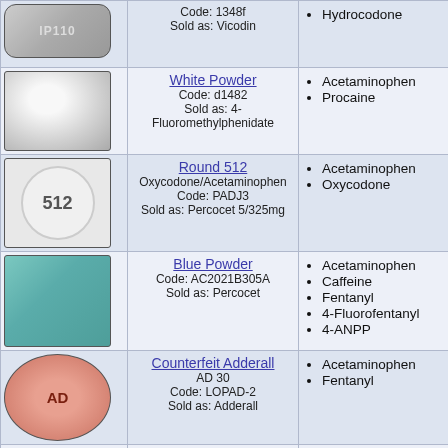| Image | Name/Code/Sold As | Substances Found | Additional Info |
| --- | --- | --- | --- |
| [pill image IP110] | Hydrocodone
Code: 1348f
Sold as: Vicodin | Hydrocodone |  |
| [white powder image] | White Powder
Code: d1482
Sold as: 4-Fluoromethylphenidate | Acetaminophen
Procaine |  |
| [round 512 pill image] | Round 512
Oxycodone/Acetaminophen
Code: PADJ3
Sold as: Percocet 5/325mg | Acetaminophen
Oxycodone |  |
| [blue powder image] | Blue Powder
Code: AC2021B305A
Sold as: Percocet | Acetaminophen
Caffeine
Fentanyl
4-Fluorofentanyl
4-ANPP |  |
| [AD pink pill image] | Counterfeit Adderall
AD 30
Code: LOPAD-2
Sold as: Adderall | Acetaminophen
Fentanyl |  |
| [AD orange pill image] | Counterfeit Adderall
AD 30
Sold as: [truncated] | Acetaminophen
Methamphetamine |  |